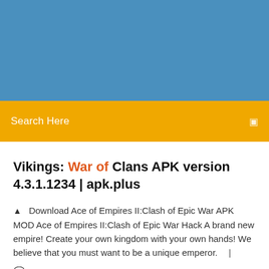[Figure (other): Blue banner header area]
Search Here
Vikings: War of Clans APK version 4.3.1.1234 | apk.plus
Download Ace of Empires II:Clash of Epic War APK MOD Ace of Empires II:Clash of Epic War Hack A brand new empire! Create your own kingdom with your own hands! We believe that you must want to be a unique emperor.   |
8 Comments